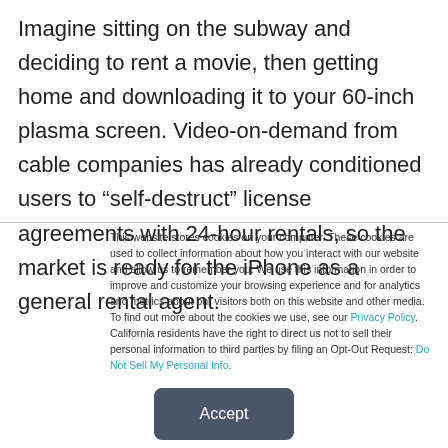Imagine sitting on the subway and deciding to rent a movie, then getting home and downloading it to your 60-inch plasma screen. Video-on-demand from cable companies has already conditioned users to “self-destruct” license agreements with 24-hour rentals, so the market is ready for the iPhone as a general rental agent.
This website stores cookies on your computer. These cookies are used to collect information about how you interact with our website and allow us to remember you. We use this information in order to improve and customize your browsing experience and for analytics and metrics about our visitors both on this website and other media. To find out more about the cookies we use, see our Privacy Policy. California residents have the right to direct us not to sell their personal information to third parties by filing an Opt-Out Request: Do Not Sell My Personal Info.